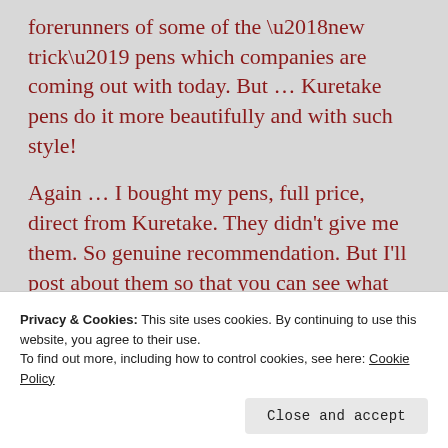forerunners of some of the ‘new trick’ pens which companies are coming out with today. But … Kuretake pens do it more beautifully and with such style!
Again … I bought my pens, full price, direct from Kuretake. They didn’t give me them. So genuine recommendation. But I’ll post about them so that you can see what they can do.
Thanks for the sharing Lunar Planting … I’m
Privacy & Cookies: This site uses cookies. By continuing to use this website, you agree to their use.
To find out more, including how to control cookies, see here: Cookie Policy